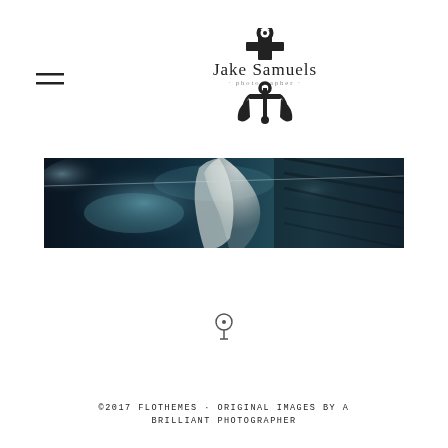[Figure (logo): Hamburger menu icon (two horizontal lines) on the left side]
[Figure (logo): Jake Samuels photographer logo with anchor and text 'Jake Samuels · photographer ·']
[Figure (photo): Wide panoramic photo of a bridal veil flowing against a dark moody sky with clouds and teal tones]
[Figure (illustration): Small scroll-down arrow/circle icon centered below the photo]
©2017 FLOTHEMES · ORIGINAL IMAGES BY A BRILLIANT PHOTOGRAPHER